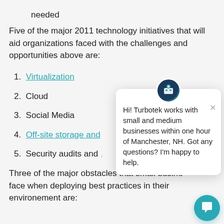needed
Five of the major 2011 technology initiatives that will aid organizations faced with the challenges and opportunities above are:
1. Virtualization
2. Cloud
3. Social Media
4. Off-site storage and
5. Security audits and
Three of the major obstacles that small businesses face when deploying best practices in their environement are:
[Figure (screenshot): Chat popup overlay from Turbotek with avatar icon, close button (×), and message: Hi! Turbotek works with small and medium businesses within one hour of Manchester, NH. Got any questions? I'm happy to help. Also includes a teal circular chat button in the bottom-right corner.]